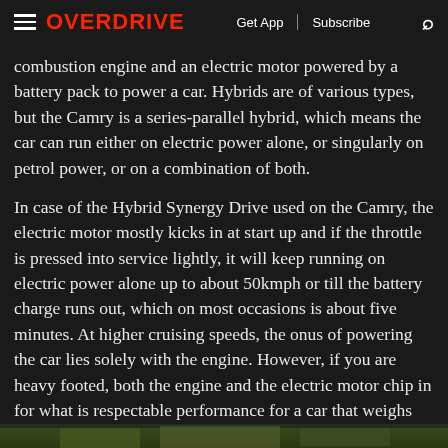OVERDRIVE | Get App | Subscribe
combustion engine and an electric motor powered by a battery pack to power a car. Hybrids are of various types, but the Camry is a series-parallel hybrid, which means the car can run either on electric power alone, or singularly on petrol power, or on a combination of both.
In case of the Hybrid Synergy Drive used on the Camry, the electric motor mostly kicks in at start up and if the throttle is pressed into service lightly, it will keep running on electric power alone up to about 50kmph or till the battery charge runs out, which on most occasions is about five minutes. At higher cruising speeds, the onus of powering the car lies solely with the engine. However, if you are heavy footed, both the engine and the electric motor chip in for what is respectable performance for a car that weighs over 1.6 tonne.
[Figure (photo): Partial view of a car image strip at the bottom of the page]